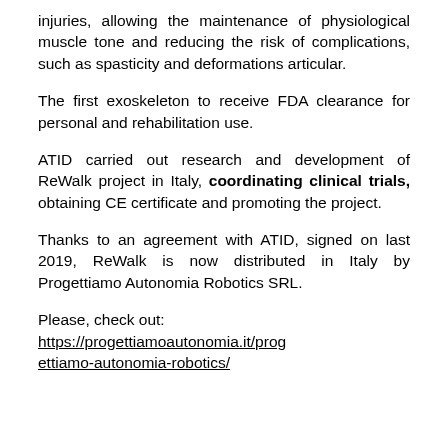injuries, allowing the maintenance of physiological muscle tone and reducing the risk of complications, such as spasticity and deformations articular.
The first exoskeleton to receive FDA clearance for personal and rehabilitation use.
ATID carried out research and development of ReWalk project in Italy, coordinating clinical trials, obtaining CE certificate and promoting the project.
Thanks to an agreement with ATID, signed on last 2019, ReWalk is now distributed in Italy by Progettiamo Autonomia Robotics SRL.
Please, check out: https://progettiamoautonomia.it/progettiamo-autonomia-robotics/